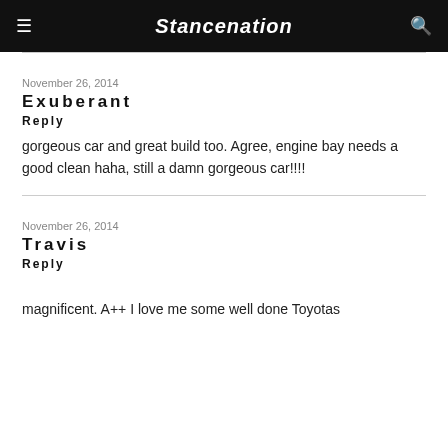Stancenation
November 26, 2014
Exuberant
Reply
gorgeous car and great build too. Agree, engine bay needs a good clean haha, still a damn gorgeous car!!!!
November 26, 2014
Travis
Reply
magnificent. A++ I love me some well done Toyotas